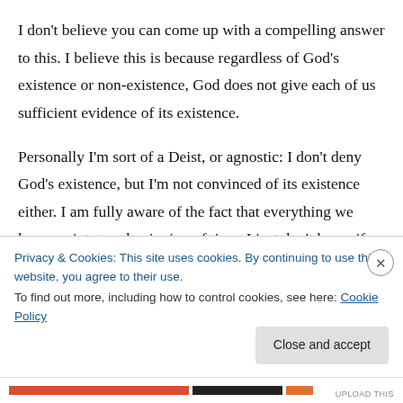I don't believe you can come up with a compelling answer to this. I believe this is because regardless of God's existence or non-existence, God does not give each of us sufficient evidence of its existence.
Personally I'm sort of a Deist, or agnostic: I don't deny God's existence, but I'm not convinced of its existence either. I am fully aware of the fact that everything we know points to a beginning of time. I just don't know if it's one turtle holding up
Privacy & Cookies: This site uses cookies. By continuing to use this website, you agree to their use.
To find out more, including how to control cookies, see here: Cookie Policy
Close and accept